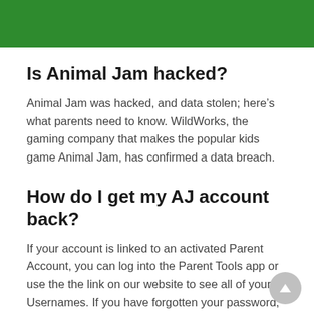[Figure (illustration): Green banner at the top of the page, likely a header image for Animal Jam website with green background and partial logo visible]
Is Animal Jam hacked?
Animal Jam was hacked, and data stolen; here’s what parents need to know. WildWorks, the gaming company that makes the popular kids game Animal Jam, has confirmed a data breach.
How do I get my AJ account back?
If your account is linked to an activated Parent Account, you can log into the Parent Tools app or use the the link on our website to see all of your Usernames. If you have forgotten your password, you will need to request a Password Reset email by clicking the Forgot your password? button on the login Page...